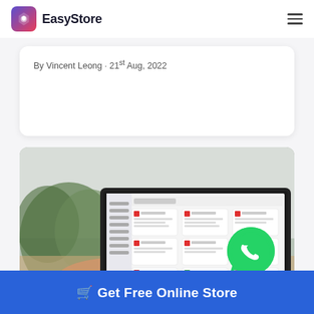EasyStore
By Vincent Leong · 21st Aug, 2022
[Figure (screenshot): Screenshot of an EasyStore dashboard interface shown on a laptop screen, with a WhatsApp icon overlay. A person's hands are visible on the keyboard, with a plant in the background.]
🛒 Get Free Online Store